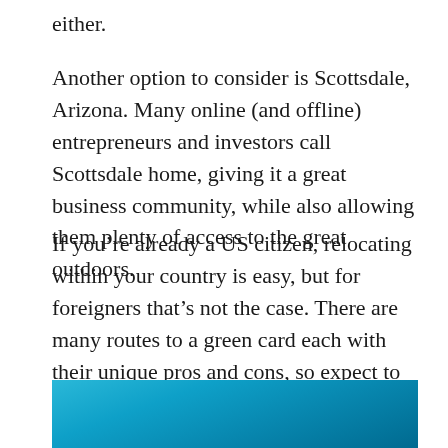either.
Another option to consider is Scottsdale, Arizona. Many online (and offline) entrepreneurs and investors call Scottsdale home, giving it a great business community, while also allowing them plenty of access to the great outdoors.
If you’re already a US citizen, relocating within your country is easy, but for foreigners that’s not the case. There are many routes to a green card each with their unique pros and cons, so expect to sit down and do some research to find out which best suits your situation.
[Figure (photo): Partial photo showing a bright blue sky, likely an outdoor scene relevant to Scottsdale, Arizona or travel/relocation context.]